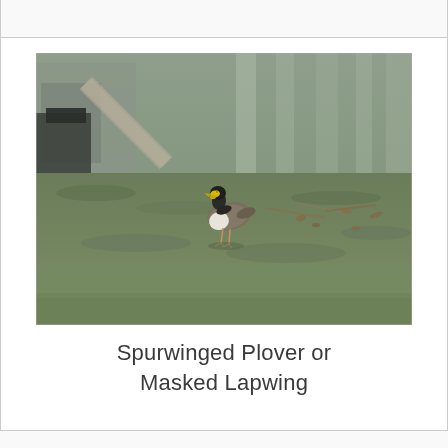[Figure (photo): A Spurwinged Plover (Masked Lapwing) bird standing on a grass lawn. The bird has a brown body, black head, yellow facial wattle, and white undersides. Background shows tree trunks, scattered dry leaves, and what appears to be outdoor furniture or equipment on the left side.]
Spurwinged Plover or Masked Lapwing